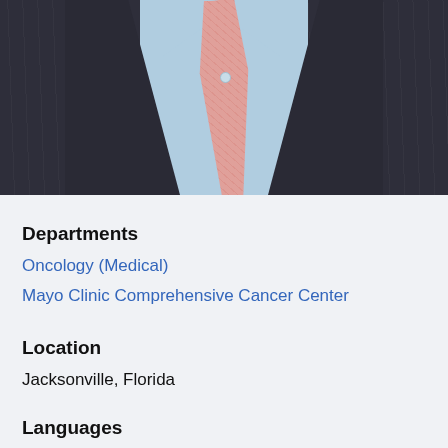[Figure (photo): Professional photo of a doctor wearing a dark charcoal suit jacket, light blue dress shirt, and a pink/salmon tie. Only the torso is visible from approximately chest level.]
Departments
Oncology (Medical)
Mayo Clinic Comprehensive Cancer Center
Location
Jacksonville, Florida
Languages
English